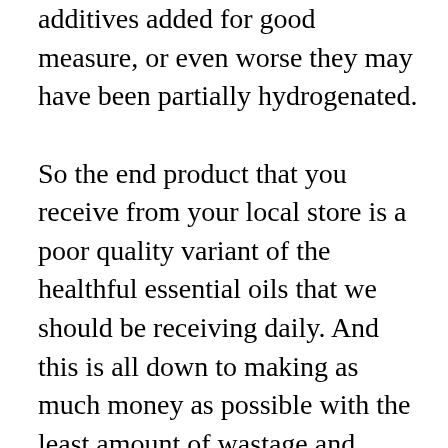additives added for good measure, or even worse they may have been partially hydrogenated.

So the end product that you receive from your local store is a poor quality variant of the healthful essential oils that we should be receiving daily. And this is all down to making as much money as possible with the least amount of wastage and operational costs, true this may produce very cheap oils, but what good is that if they are actively making us unwell? So if all these oils, margarines and vegetable